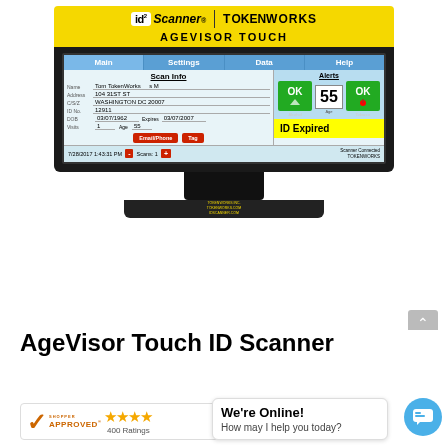[Figure (photo): AgeVisor Touch ID Scanner device with touchscreen showing scan info interface. Screen displays name Tom TokenWorks, address 104 31ST ST, Washington DC 20007, ID No 12911, DOB 03/07/1962, Expires 03/07/2007, Visits 1, Age 55. Alerts section shows OK for Alcohol, Age 55, OK for Tobacco. Yellow ID Expired banner visible. Status bar shows 7/28/2017 1:43:31 PM, Scans: 1, Scanner Connected TOKENWORKS.]
AgeVisor Touch ID Scanner
[Figure (logo): Shopper Approved badge with orange stars and '400 Ratings' text]
We're Online! How may I help you today?